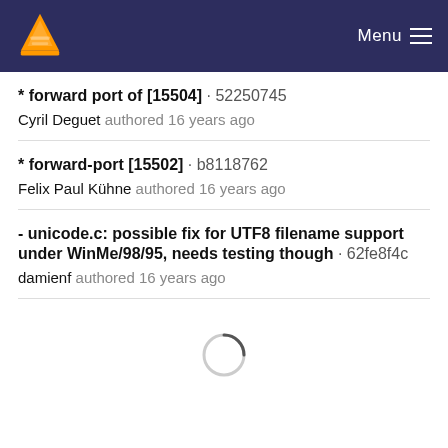VLC Menu
* forward port of [15504] · 52250745
Cyril Deguet authored 16 years ago
* forward-port [15502] · b8118762
Felix Paul Kühne authored 16 years ago
- unicode.c: possible fix for UTF8 filename support under WinMe/98/95, needs testing though · 62fe8f4c
damienf authored 16 years ago
[Figure (other): Loading spinner circle animation]